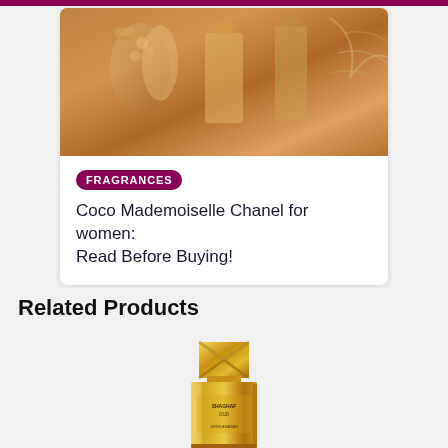[Figure (photo): Top portion of a card showing perfume bottles in warm golden tones]
FRAGRANCES
Coco Mademoiselle Chanel for women: Read Before Buying!
Related Products
[Figure (photo): Gold perfume bottle labeled SHAGHAF OUD by SWISS ARABIAN]